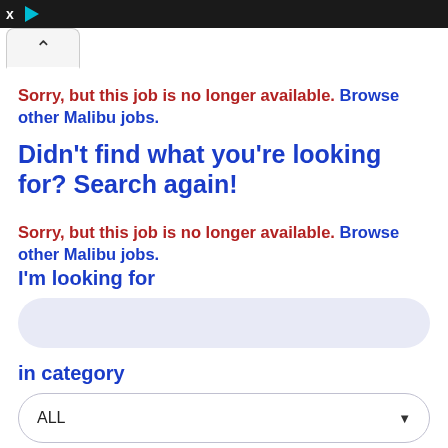x ▶ [browser toolbar]
Sorry, but this job is no longer available. Browse other Malibu jobs.
Didn't find what you're looking for? Search again!
Sorry, but this job is no longer available. Browse other Malibu jobs.
I'm looking for
in category
ALL
within